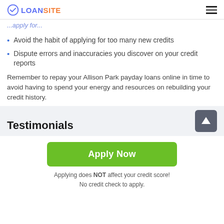LOANSITE
...apply for...
Avoid the habit of applying for too many new credits
Dispute errors and inaccuracies you discover on your credit reports
Remember to repay your Allison Park payday loans online in time to avoid having to spend your energy and resources on rebuilding your credit history.
Testimonials
Apply Now
Applying does NOT affect your credit score!
No credit check to apply.